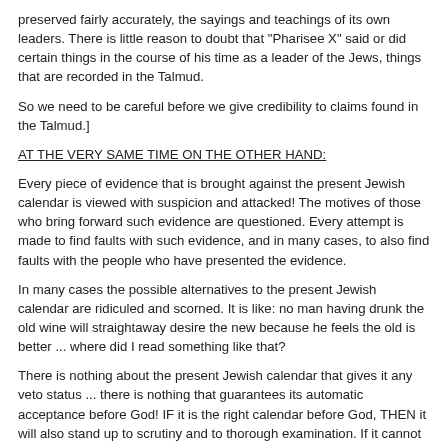preserved fairly accurately, the sayings and teachings of its own leaders. There is little reason to doubt that "Pharisee X" said or did certain things in the course of his time as a leader of the Jews, things that are recorded in the Talmud.
So we need to be careful before we give credibility to claims found in the Talmud.]
AT THE VERY SAME TIME ON THE OTHER HAND:
Every piece of evidence that is brought against the present Jewish calendar is viewed with suspicion and attacked! The motives of those who bring forward such evidence are questioned. Every attempt is made to find faults with such evidence, and in many cases, to also find faults with the people who have presented the evidence.
In many cases the possible alternatives to the present Jewish calendar are ridiculed and scorned. It is like: no man having drunk the old wine will straightaway desire the new because he feels the old is better ... where did I read something like that?
There is nothing about the present Jewish calendar that gives it any veto status ... there is nothing that guarantees its automatic acceptance before God! IF it is the right calendar before God, THEN it will also stand up to scrutiny and to thorough examination. If it cannot stand up to such scrutiny, it is because this calendar contains some inherent problems!
If we are not willing to honestly face valid questions that are presented to us, then we are losing our integrity before the Almighty Creator God of heaven and earth!